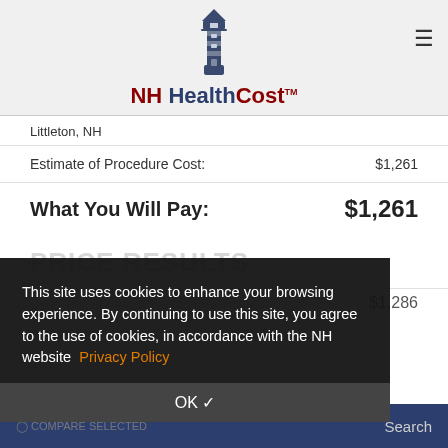NH HealthCost
Littleton, NH
|  |  |
| --- | --- |
| Estimate of Procedure Cost: | $1,261 |
| What You Will Pay: | $1,261 |
$1,286
This site uses cookies to enhance your browsing experience. By continuing to use this site, you agree to the use of cookies, in accordance with the NH website Privacy Policy
OK ✓